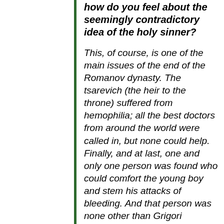how do you feel about the seemingly contradictory idea of the holy sinner?
This, of course, is one of the main issues of the end of the Romanov dynasty. The tsarevich (the heir to the throne) suffered from hemophilia; all the best doctors from around the world were called in, but none could help. Finally, and at last, one and only one person was found who could comfort the young boy and stem his attacks of bleeding. And that person was none other than Grigori Effimovich Rasputin. When the boy seemed doomed for death, Rasputin, time and again, in well-documented episodes, saved the